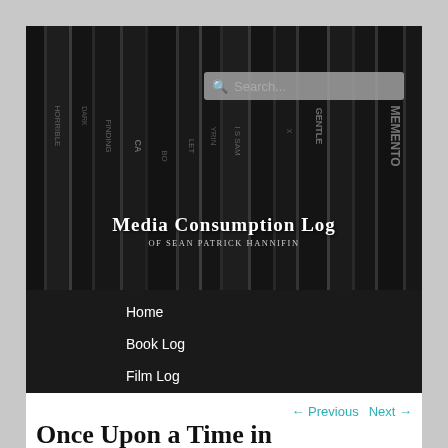[Figure (photo): Black and white photo of book spines on a shelf including titles like Horrible, Finding, Memento, Dark, etc. Used as website header background image.]
Media Consumption Log of Sean Patrick Hannifin
Home
Book Log
Film Log
← Previous   Next →
Once Upon a Time in America (1984)